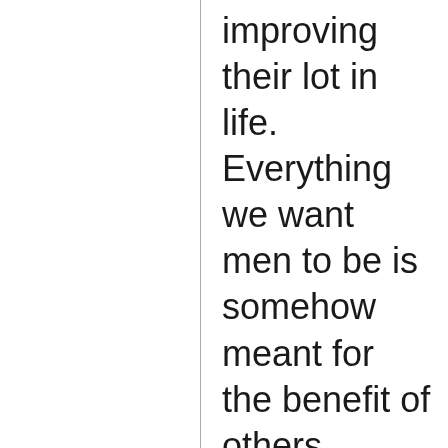improving their lot in life. Everything we want men to be is somehow meant for the benefit of others. However well intended (and sometimes not), these efforts are doing little more